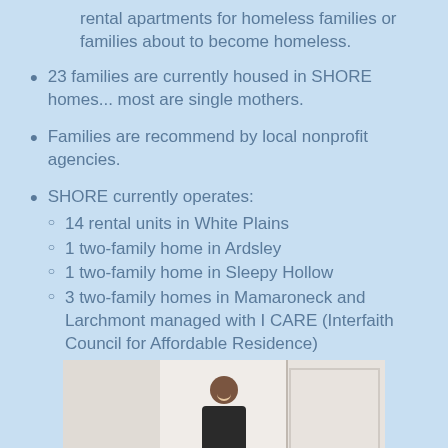rental apartments for homeless families or families about to become homeless.
23 families are currently housed in SHORE homes... most are single mothers.
Families are recommend by local nonprofit agencies.
SHORE currently operates: 14 rental units in White Plains; 1 two-family home in Ardsley; 1 two-family home in Sleepy Hollow; 3 two-family homes in Mamaroneck and Larchmont managed with I CARE (Interfaith Council for Affordable Residence)
[Figure (photo): Photo of a smiling woman with dark hair near a door or doorway]